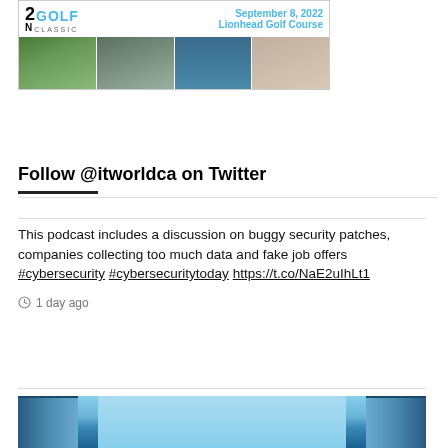[Figure (photo): Golf Classic event banner showing '2022 GOLF CLASSIC', date September 8, 2022, Lionhead Golf Course, with four photos of children beneath]
Follow @itworldca on Twitter
This podcast includes a discussion on buggy security patches, companies collecting too much data and fake job offers #cybersecurity #cybersecuritytoday https://t.co/NaE2uIhLt1
1 day ago
[Figure (photo): Bottom portion of a photo showing what appears to be blue sky with architectural elements (doors/archways)]